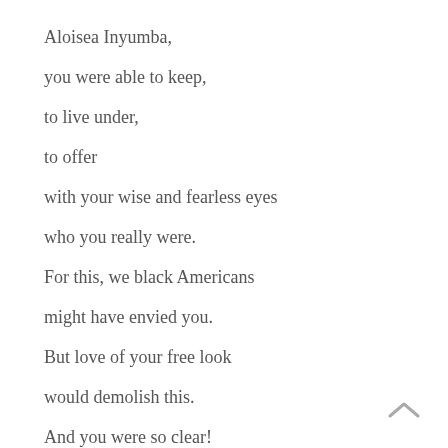Aloisea Inyumba,

you were able to keep,

to live under,

to offer

with your wise and fearless eyes

who you really were.

For this, we black Americans

might have envied you.

But love of your free look

would demolish this.

And you were so clear!

As we poked into orphanages

and dim and dusty huts